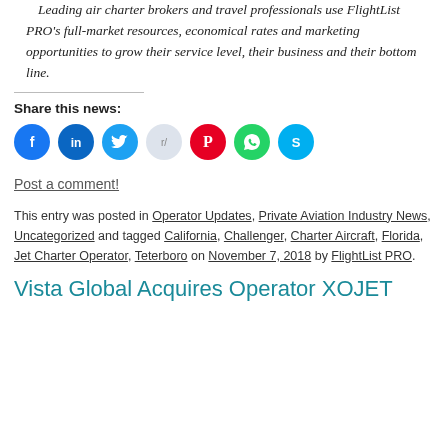Leading air charter brokers and travel professionals use FlightList PRO's full-market resources, economical rates and marketing opportunities to grow their service level, their business and their bottom line.
Share this news:
[Figure (other): Social sharing icons: Facebook, LinkedIn, Twitter, Reddit, Pinterest, WhatsApp, Skype]
Post a comment!
This entry was posted in Operator Updates, Private Aviation Industry News, Uncategorized and tagged California, Challenger, Charter Aircraft, Florida, Jet Charter Operator, Teterboro on November 7, 2018 by FlightList PRO.
Vista Global Acquires Operator XOJET